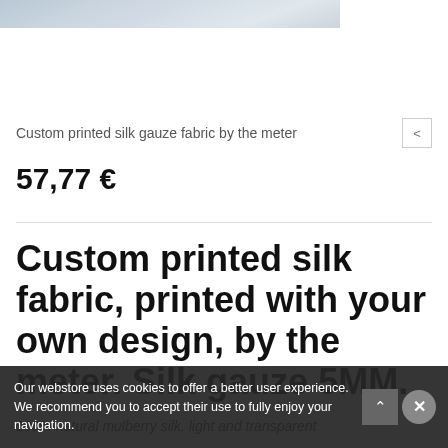[Figure (photo): Partial product photo showing silk gauze fabric texture at the top of the page, light blue-grey tones]
Custom printed silk gauze fabric by the meter
57,77 €
Custom printed silk fabric, printed with your own design, by the meter. Silk gauze 5MM.
100% natural mulberry silk, light and transparent
Our webstore uses cookies to offer a better user experience. We recommend you to accept their use to fully enjoy your navigation.